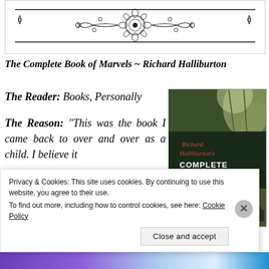[Figure (illustration): Decorative ornamental header with floral/scroll design and horizontal rules]
The Complete Book of Marvels ~ Richard Halliburton
The Reader: Books, Personally
The Reason: “This was the book I came back to over and over as a child. I believe it
[Figure (photo): Book cover of Richard Halliburton's Complete Book of Marvels, showing a dark green jungle/floral background with white pillars at bottom and red/white title text]
Privacy & Cookies: This site uses cookies. By continuing to use this website, you agree to their use.
To find out more, including how to control cookies, see here: Cookie Policy
Close and accept